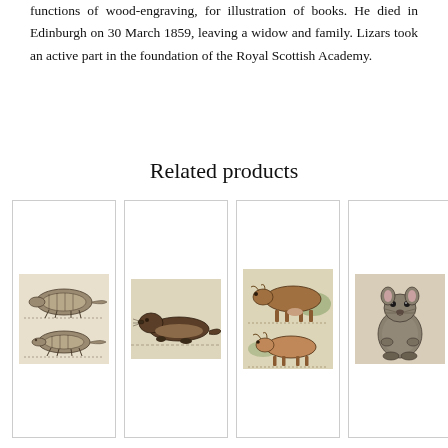functions of wood-engraving, for illustration of books. He died in Edinburgh on 30 March 1859, leaving a widow and family. Lizars took an active part in the foundation of the Royal Scottish Academy.
Related products
[Figure (illustration): Antique engraving of two armadillo-like animals, one viewed from top and one from side]
[Figure (illustration): Antique engraving of an otter or similar small mammal]
[Figure (illustration): Antique colored engraving of cows/cattle in a field]
[Figure (illustration): Antique engraving of a small furry rodent or mammal]